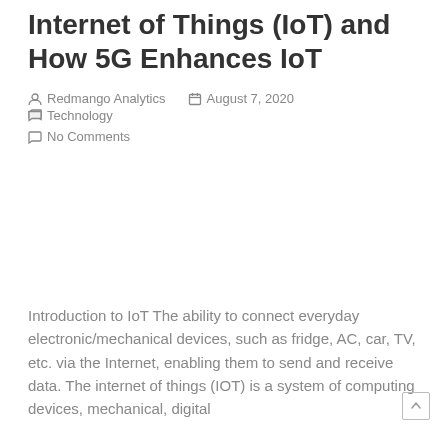Internet of Things (IoT) and How 5G Enhances IoT
Redmango Analytics   August 7, 2020   Technology   No Comments
Introduction to IoT The ability to connect everyday electronic/mechanical devices, such as fridge, AC, car, TV, etc. via the Internet, enabling them to send and receive data. The internet of things (IOT) is a system of computing devices, mechanical, digital